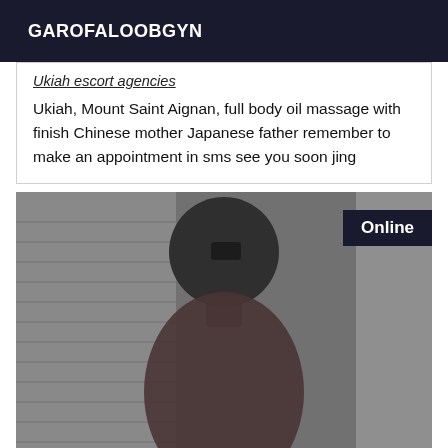GAROFALOOBGYN
Ukiah escort agencies
Ukiah, Mount Saint Aignan, full body oil massage with finish Chinese mother Japanese father remember to make an appointment in sms see you soon jing
[Figure (photo): Mirror selfie photo of a person. An 'Online' badge appears in the top-right corner of the image.]